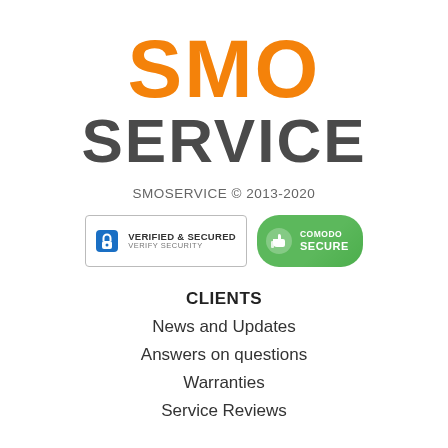[Figure (logo): SMO SERVICE logo: 'SMO' in large orange bold text, 'SERVICE' in large dark gray bold text below]
SMOSERVICE © 2013-2020
[Figure (infographic): Two security badges: 'Verified & Secured - Verify Security' badge with lock icon, and 'Comodo Secure' badge with thumbs-up icon]
CLIENTS
News and Updates
Answers on questions
Warranties
Service Reviews
PARTNERS